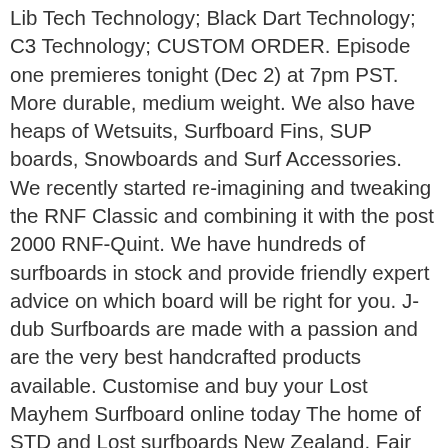Lib Tech Technology; Black Dart Technology; C3 Technology; CUSTOM ORDER. Episode one premieres tonight (Dec 2) at 7pm PST. More durable, medium weight. We also have heaps of Wetsuits, Surfboard Fins, SUP boards, Snowboards and Surf Accessories. We recently started re-imagining and tweaking the RNF Classic and combining it with the post 2000 RNF-Quint. We have hundreds of surfboards in stock and provide friendly expert advice on which board will be right for you. J-dub Surfboards are made with a passion and are the very best handcrafted products available. Customise and buy your Lost Mayhem Surfboard online today The home of STD and Lost surfboards New Zealand. Fair Trade Certified. Just email info@undergroundskate.co.nz with the details. Keeping the pulled in performance and easy going drive of the the Classic, with glide and versatility of the RNF-Qunit, we created a high performance hybrid that paddles well and glides across flat faced, sloppy, small junk surf, as well as perform radical, on rail, precise high speed surfing in real waves. The